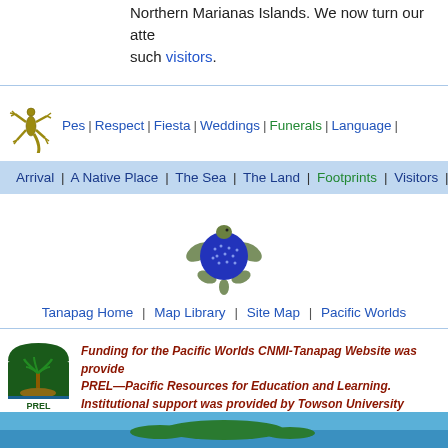Northern Marianas Islands. We now turn our attention to such visitors.
[Figure (illustration): Navigation bar with gecko/lizard icon and text links: Pes | Respect | Fiesta | Weddings | Funerals | Language]
[Figure (illustration): Blue navigation bar: Arrival | A Native Place | The Sea | The Land | Footprints | Visitors | M...]
[Figure (illustration): Sea turtle graphic - blue globe turtle illustration]
Tanapag Home  |  Map Library |  Site Map |  Pacific Worlds
[Figure (logo): PREL logo - palm tree on island with PREL text]
Funding for the Pacific Worlds CNMI-Tanapag Website was provided by PREL—Pacific Resources for Education and Learning. Institutional support was provided by Towson University.
[Figure (photo): Bottom banner image showing ocean/island scene]